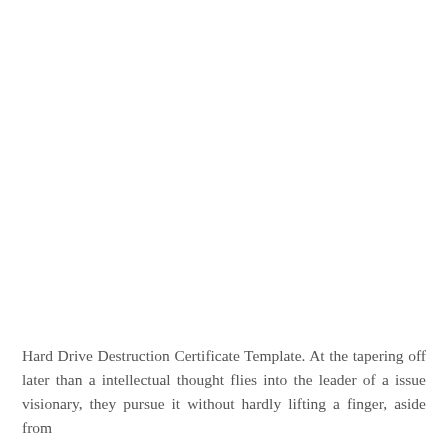Hard Drive Destruction Certificate Template. At the tapering off later than a intellectual thought flies into the leader of a issue visionary, they pursue it without hardly lifting a finger, aside from